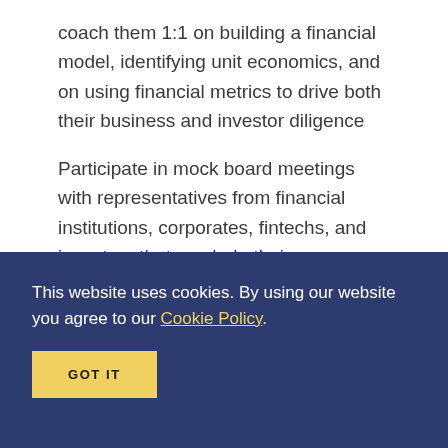coach them 1:1 on building a financial model, identifying unit economics, and on using financial metrics to drive both their business and investor diligence
Participate in mock board meetings with representatives from financial institutions, corporates, fintechs, and investors that can help their organization scale.
This website uses cookies. By using our website you agree to our Cookie Policy.